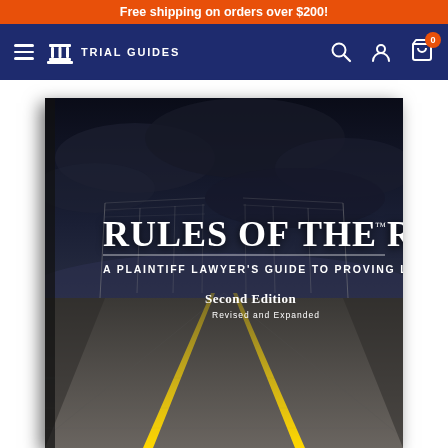Free shipping on orders over $200!
[Figure (logo): Trial Guides navigation bar with hamburger menu, Trial Guides logo (columns icon), search icon, account icon, and cart icon with badge 0]
[Figure (photo): Book cover: Rules of the Road - A Plaintiff Lawyer's Guide to Proving Liability, Second Edition Revised and Expanded. Dark road perspective photo with yellow center lines, stormy sky, power lines on the side.]